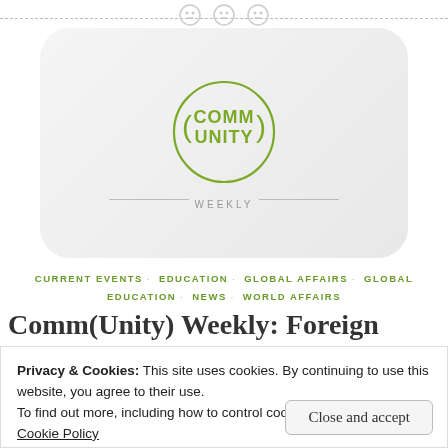[Figure (logo): Comm(Unity) Weekly circular logo in olive green on a light gray rounded rectangle card background, with three circular button icons above]
CURRENT EVENTS · EDUCATION · GLOBAL AFFAIRS · GLOBAL EDUCATION · NEWS · WORLD AFFAIRS
Comm(Unity) Weekly: Foreign Policy
Privacy & Cookies: This site uses cookies. By continuing to use this website, you agree to their use.
To find out more, including how to control cookies, see here:
Cookie Policy
Close and accept